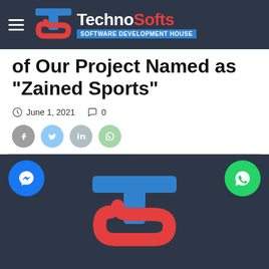TechnoSofts Software Development House
of Our Project Named as “Zained Sports”
June 1, 2021   0
[Figure (screenshot): Social share buttons: Facebook, Twitter, LinkedIn, WhatsApp]
[Figure (logo): TechnoSofts logo on dark background with Messenger and WhatsApp floating action buttons]